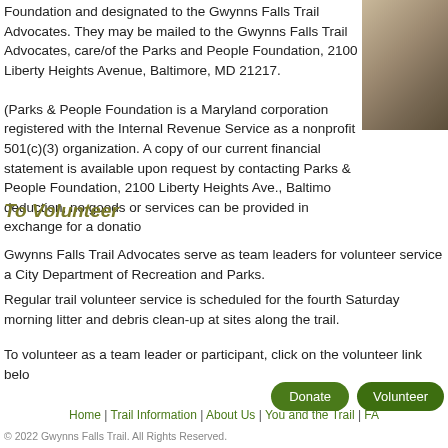Foundation and designated to the Gwynns Falls Trail Advocates. They may be mailed to the Gwynns Falls Trail Advocates, care/of the Parks and People Foundation, 2100 Liberty Heights Avenue, Baltimore, MD 21217.
(Parks & People Foundation is a Maryland corporation registered with the Internal Revenue Service as a nonprofit 501(c)(3) organization. A copy of our current financial statement is available upon request by contacting Parks & People Foundation, 2100 Liberty Heights Ave., Baltimore. deduction, no goods or services can be provided in exchange for a donation.
[Figure (photo): Outdoor trail photo, sepia/brown tones showing path or rocky terrain]
To Volunteer
Gwynns Falls Trail Advocates serve as team leaders for volunteer service a City Department of Recreation and Parks.
Regular trail volunteer service is scheduled for the fourth Saturday morning litter and debris clean-up at sites along the trail.
To volunteer as a team leader or participant, click on the volunteer link belo
Donate   Volunteer
Home | Trail Information | About Us | You and the Trail | FA
© 2022 Gwynns Falls Trail. All Rights Reserved.